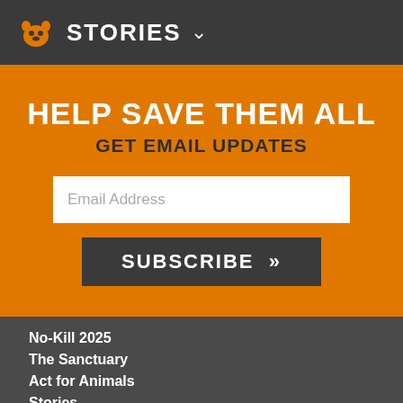STORIES
HELP SAVE THEM ALL
GET EMAIL UPDATES
Email Address
SUBSCRIBE »
No-Kill 2025
The Sanctuary
Act for Animals
Stories